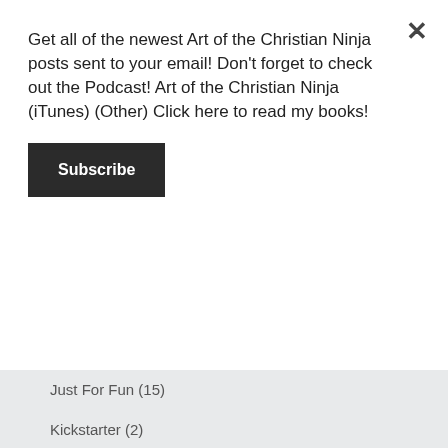Get all of the newest Art of the Christian Ninja posts sent to your email! Don't forget to check out the Podcast! Art of the Christian Ninja (iTunes) (Other) Click here to read my books!
Subscribe
Just For Fun (15)
Kickstarter (2)
Links (4)
Of Interest (66)
Outreach (18)
Pastoral Prayer (17)
Podcasts (319)
Sermon (338)
Sermons (5)
Special Feature (155)